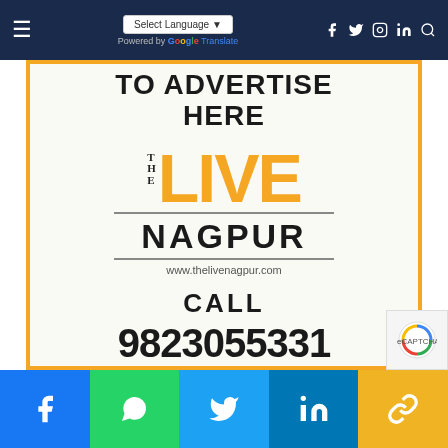Navigation bar with Select Language, Google Translate, social icons
[Figure (logo): The Live Nagpur advertisement banner with orange border, logo, website www.thelivenagpur.com, CALL 9823055331]
Social share bar: Facebook, WhatsApp, Twitter, LinkedIn, Link